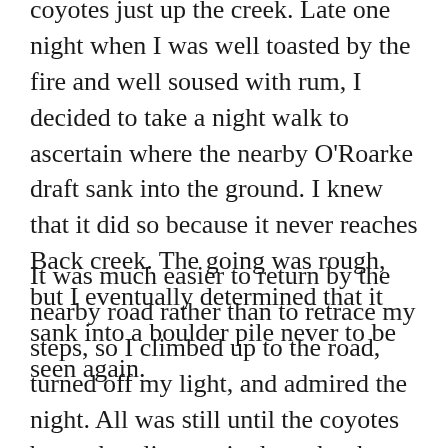coyotes just up the creek. Late one night when I was well toasted by the fire and well soused with rum, I decided to take a night walk to ascertain where the nearby O'Roarke draft sank into the ground. I knew that it did so because it never reaches Back creek. The going was rough, but I eventually determined that it sank into a boulder pile never to be seen again.
It was much easier to return by the nearby road rather than to retrace my steps, so I climbed up to the road, turned off my light, and admired the night. All was still until the coyotes began howling again down by the creek. I would much rather listen to the songs of coyotes than to any man made music.